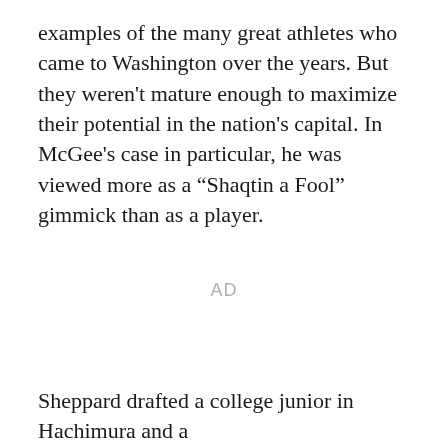examples of the many great athletes who came to Washington over the years. But they weren’t mature enough to maximize their potential in the nation’s capital. In McGee’s case in particular, he was viewed more as a “Shaqtin a Fool” gimmick than as a player.
AD
Sheppard drafted a college junior in Hachimura and a